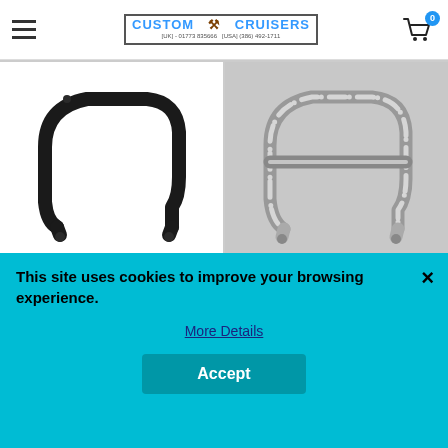Custom Cruisers | [UK] - 01773 835666 | [USA] (386) 492-1711
[Figure (photo): Black engine guard/crash bar for Harley Davidson Dyna]
Harley Davidson Dyna
[Figure (photo): Chrome engine guard/crash bar for Harley Davidson Dyna]
Harley Davidson Dyna
This site uses cookies to improve your browsing experience.
More Details
Accept